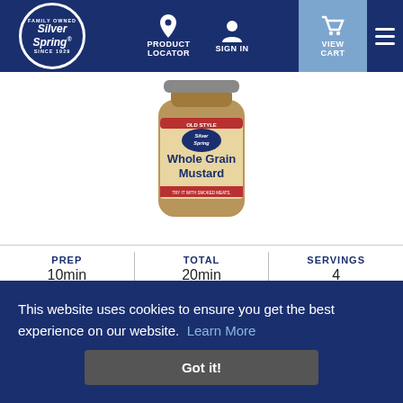Silver Spring Family Owned Since 1929 – Navigation: Product Locator, Sign In, View Cart
[Figure (photo): Jar of Silver Spring Old Style Whole Grain Mustard product]
| PREP | TOTAL | SERVINGS |
| --- | --- | --- |
| 10min | 20min | 4 |
This website uses cookies to ensure you get the best experience on our website. Learn More
Got it!
[Figure (photo): Food photo strip at bottom of page showing a prepared dish]